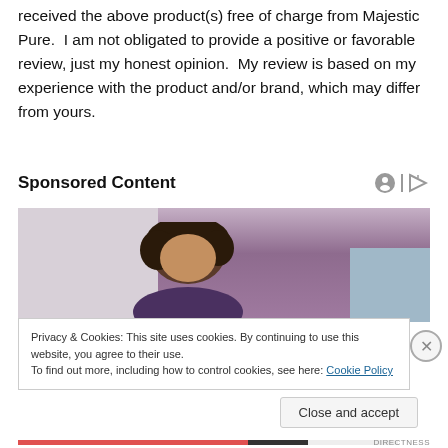received the above product(s) free of charge from Majestic Pure.  I am not obligated to provide a positive or favorable review, just my honest opinion.  My review is based on my experience with the product and/or brand, which may differ from yours.
Sponsored Content
[Figure (photo): A person with curly hair seen from above against a purple curtain/drape background]
Privacy & Cookies: This site uses cookies. By continuing to use this website, you agree to their use.
To find out more, including how to control cookies, see here: Cookie Policy